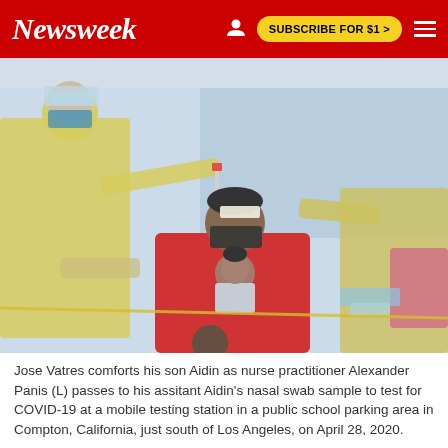Newsweek | SUBSCRIBE FOR $1 >
[Figure (photo): Medical workers in yellow PPE gowns, gloves, masks, and face shields administering a COVID-19 nasal swab test at a mobile testing station. A man in a red jacket (Jose Vatres) holds a toddler (Aidin) while nurse practitioner Alexander Panis (L) passes the nasal swab sample to his assistant. The setting appears to be an outdoor tent area.]
Jose Vatres comforts his son Aidin as nurse practitioner Alexander Panis (L) passes to his assitant Aidin's nasal swab sample to test for COVID-19 at a mobile testing station in a public school parking area in Compton, California, just south of Los Angeles, on April 28, 2020.